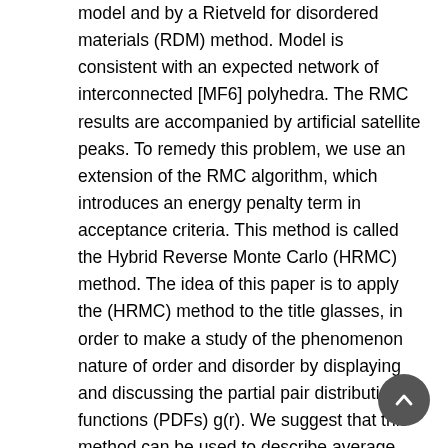model and by a Rietveld for disordered materials (RDM) method. Model is consistent with an expected network of interconnected [MF6] polyhedra. The RMC results are accompanied by artificial satellite peaks. To remedy this problem, we use an extension of the RMC algorithm, which introduces an energy penalty term in acceptance criteria. This method is called the Hybrid Reverse Monte Carlo (HRMC) method. The idea of this paper is to apply the (HRMC) method to the title glasses, in order to make a study of the phenomenon nature of order and disorder by displaying and discussing the partial pair distribution functions (PDFs) g(r). We suggest that this method can be used to describe average correlations between components of fluoride glass or similar system.
Keywords: fluoride glasses, RMC simulation, neutron scattering, hybrid RMC simulation, Lennard-Jones potential, partial pair distribution functions